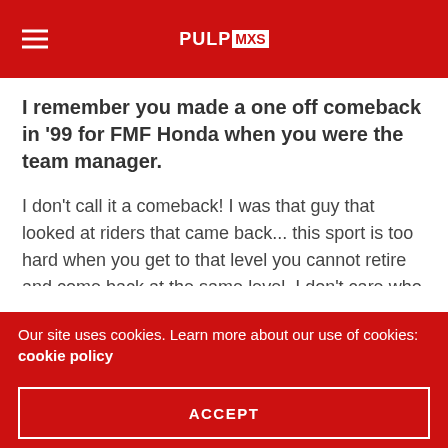PULPMX
I remember you made a one off comeback in '99 for FMF Honda when you were the team manager.
I don't call it a comeback! I was that guy that looked at riders that came back... this sport is too hard when you get to that level you cannot retire and come back at the same level. I don't care who you are it's never been done, whether it's Michael Jordan or whoever – you can't do it, it's too hard.
I was getting pressure the whole year by the team. I would go out and ride with the riders and I was usually faster than
Our site uses cookies. Learn more about our use of cookies: cookie policy
ACCEPT